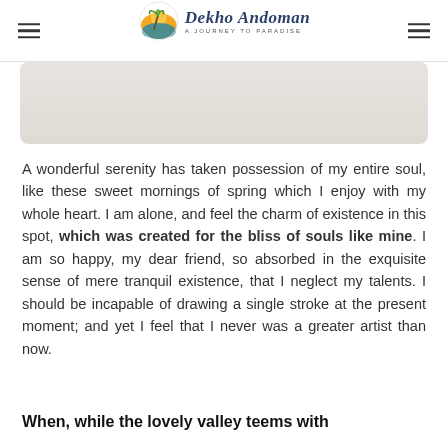Dekho Andoman — A Journey to Paradise
[Figure (photo): Hero image area with light gray/beige background, partially visible travel photo]
A wonderful serenity has taken possession of my entire soul, like these sweet mornings of spring which I enjoy with my whole heart. I am alone, and feel the charm of existence in this spot, which was created for the bliss of souls like mine. I am so happy, my dear friend, so absorbed in the exquisite sense of mere tranquil existence, that I neglect my talents. I should be incapable of drawing a single stroke at the present moment; and yet I feel that I never was a greater artist than now.
When, while the lovely valley teems with